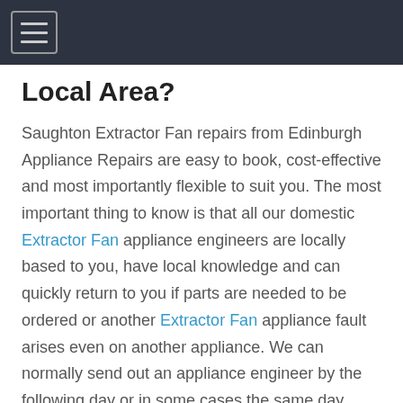[Navigation bar with hamburger menu button]
Local Area?
Saughton Extractor Fan repairs from Edinburgh Appliance Repairs are easy to book, cost-effective and most importantly flexible to suit you. The most important thing to know is that all our domestic Extractor Fan appliance engineers are locally based to you, have local knowledge and can quickly return to you if parts are needed to be ordered or another Extractor Fan appliance fault arises even on another appliance. We can normally send out an appliance engineer by the following day or in some cases the same day especially if the repair is an emergency. If you're not in a rush or can only be at home on certain days then just choose and book your desired date. You can then decide on an AM or PM appointment so you're not tied to